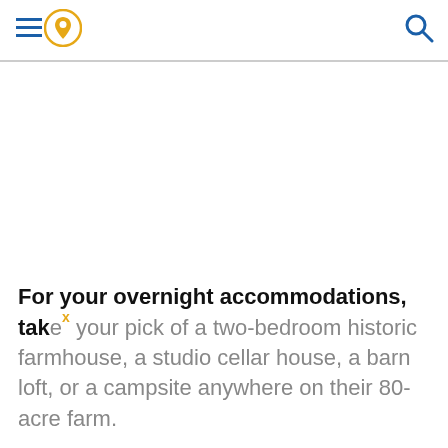[Navigation header with hamburger menu, location pin icon, and search icon]
[Figure (illustration): Large white/blank image area below the navigation header, taking up most of the page]
For your overnight accommodations, take your pick of a two-bedroom historic farmhouse, a studio cellar house, a barn loft, or a campsite anywhere on their 80-acre farm.